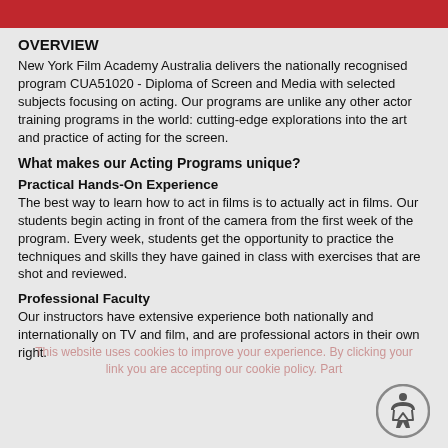OVERVIEW
New York Film Academy Australia delivers the nationally recognised program CUA51020 - Diploma of Screen and Media with selected subjects focusing on acting. Our programs are unlike any other actor training programs in the world: cutting-edge explorations into the art and practice of acting for the screen.
What makes our Acting Programs unique?
Practical Hands-On Experience
The best way to learn how to act in films is to actually act in films. Our students begin acting in front of the camera from the first week of the program. Every week, students get the opportunity to practice the techniques and skills they have gained in class with exercises that are shot and reviewed.
Professional Faculty
Our instructors have extensive experience both nationally and internationally on TV and film, and are professional actors in their own right.